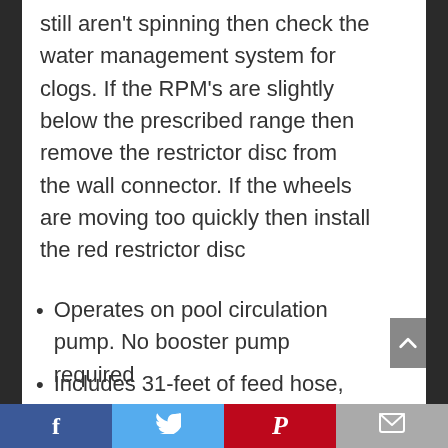still aren't spinning then check the water management system for clogs. If the RPM's are slightly below the prescribed range then remove the restrictor disc from the wall connector. If the wheels are moving too quickly then install the red restrictor disc
Operates on pool circulation pump. No booster pump required
Includes 31-feet of feed hose, and single chamber filter bad for capturing large debris. Vacuum Inlet : 2 ¼"
Facebook | Twitter | Pinterest | Email